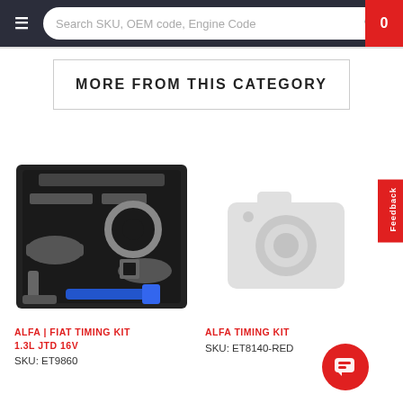Search SKU, OEM code, Engine Code
MORE FROM THIS CATEGORY
[Figure (photo): Alfa / Fiat timing kit set including various tools in a black carry tray with a blue-handled tool]
ALFA | FIAT TIMING KIT 1.3L JTD 16V
SKU: ET9860
[Figure (photo): Placeholder camera icon indicating no product image available]
ALFA TIMING KIT
SKU: ET8140-RED